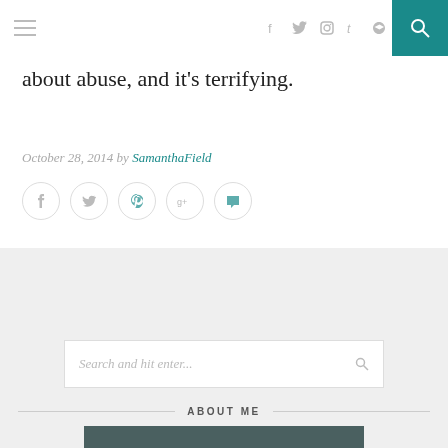Navigation bar with hamburger menu, social icons (f, twitter, instagram, tumblr, rss), and teal search button
about abuse, and it's terrifying.
October 28, 2014 by SamanthaField
[Figure (other): Social share buttons row: Facebook, Twitter, Pinterest, Google+, Comment icons in circles]
[Figure (other): Search bar with placeholder text 'Search and hit enter...' and search icon]
ABOUT ME
[Figure (photo): Partial photo visible at bottom of page, dark teal/green tones]